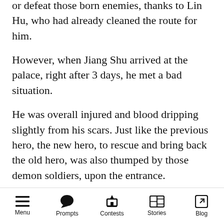or defeat those born enemies, thanks to Lin Hu, who had already cleaned the route for him.
However, when Jiang Shu arrived at the palace, right after 3 days, he met a bad situation.
He was overall injured and blood dripping slightly from his scars. Just like the previous hero, the new hero, to rescue and bring back the old hero, was also thumped by those demon soldiers, upon the entrance.
He thought, ‘Have the demon king never taught his soldiers right manners?!’
Next, what he saw, was he could never believe in his eyes or brain.
Menu   Prompts   Contests   Stories   Blog